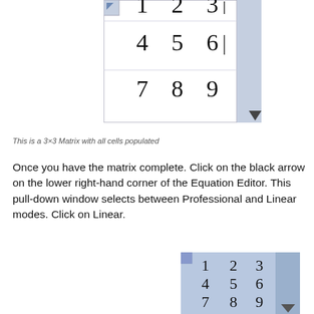[Figure (screenshot): Equation Editor showing a 3x3 matrix with values 1,2,3 / 4,5,6 / 7,8,9 with a blue scrollbar on right side and down arrow]
This is a 3×3 Matrix with all cells populated
Once you have the matrix complete. Click on the black arrow on the lower right-hand corner of the Equation Editor. This pull-down window selects between Professional and Linear modes. Click on Linear.
[Figure (screenshot): Equation Editor showing a 3x3 matrix with values 1,2,3 / 4,5,6 / 7,8,9 with blue background and scrollbar]